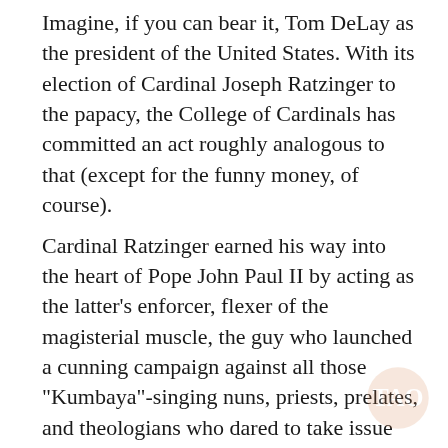Imagine, if you can bear it, Tom DeLay as the president of the United States. With its election of Cardinal Joseph Ratzinger to the papacy, the College of Cardinals has committed an act roughly analogous to that (except for the funny money, of course).
Cardinal Ratzinger earned his way into the heart of Pope John Paul II by acting as the latter's enforcer, flexer of the magisterial muscle, the guy who launched a cunning campaign against all those "Kumbaya"-singing nuns, priests, prelates, and theologians who dared to take issue with the most draconian of the Church's doctrines: those that condemned women to a life of biological destiny; queer people to a stigmatized life of chastity; and divorced people to a status of unworthiness when it came to the central rite of the Catholic Mass, the partaking of Holy